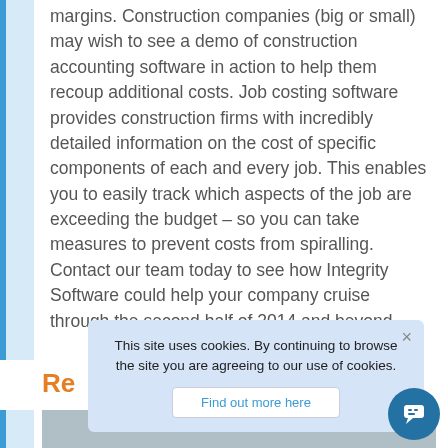margins. Construction companies (big or small) may wish to see a demo of construction accounting software in action to help them recoup additional costs. Job costing software provides construction firms with incredibly detailed information on the cost of specific components of each and every job. This enables you to easily track which aspects of the job are exceeding the budget – so you can take measures to prevent costs from spiralling. Contact our team today to see how Integrity Software could help your company cruise through the second half of 2014 and beyond.
Re...
[Figure (screenshot): Cookie consent banner overlay with close button (×), message 'This site uses cookies. By continuing to browse the site you are agreeing to our use of cookies.', and a 'Find out more here' button. A circular blue chat button with speech bubble icon is visible at bottom right.]